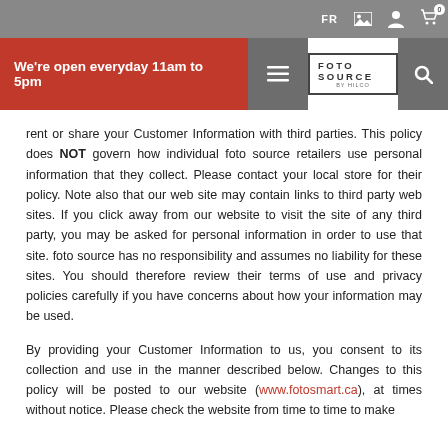FR [image icon] [user icon] [cart icon 0]
[Figure (screenshot): Website navigation header with red banner reading 'We're open everyday 11am to 5pm', hamburger menu button, Foto Source logo, and search button]
rent or share your Customer Information with third parties. This policy does NOT govern how individual foto source retailers use personal information that they collect. Please contact your local store for their policy. Note also that our web site may contain links to third party web sites. If you click away from our website to visit the site of any third party, you may be asked for personal information in order to use that site. foto source has no responsibility and assumes no liability for these sites. You should therefore review their terms of use and privacy policies carefully if you have concerns about how your information may be used.
By providing your Customer Information to us, you consent to its collection and use in the manner described below. Changes to this policy will be posted to our website (www.fotosmart.ca), at times without notice. Please check the website from time to time to make